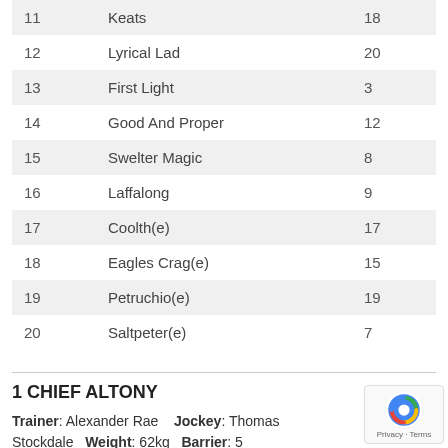| # | Name | Odds |
| --- | --- | --- |
| 11 | Keats | 18 |
| 12 | Lyrical Lad | 20 |
| 13 | First Light | 3 |
| 14 | Good And Proper | 12 |
| 15 | Swelter Magic | 8 |
| 16 | Laffalong | 9 |
| 17 | Coolth(e) | 17 |
| 18 | Eagles Crag(e) | 15 |
| 19 | Petruchio(e) | 19 |
| 20 | Saltpeter(e) | 7 |
1 CHIEF ALTONY
Trainer: Alexander Rae   Jockey: Thomas Stockdale   Weight: 62kg   Barrier: 5